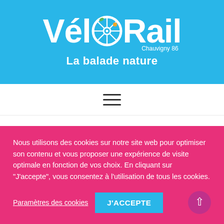[Figure (logo): VéloRail Chauvigny 86 logo with bicycle wheel replacing the 'O', on a blue background. Subtitle: La balade nature]
≡
Vous venez en groupe ?
N'hésitez pas à nous demander un devis.
Nous utilisons des cookies sur notre site web pour optimiser son contenu et vous proposer une expérience de visite optimale en fonction de vos choix. En cliquant sur "J'accepte", vous consentez à l'utilisation de tous les cookies.
Paramètres des cookies
J'ACCEPTE